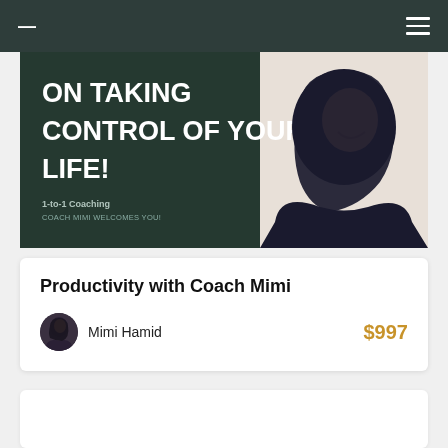— ≡
[Figure (illustration): Promotional banner for coaching service showing bold white text 'ON TAKING CONTROL OF YOUR LIFE!' on dark green background with subtitle '1-to-1 Coaching / COACH MIMI WELCOMES YOU!' and an illustrated woman in hijab on the right side]
Productivity with Coach Mimi
Mimi Hamid   $997